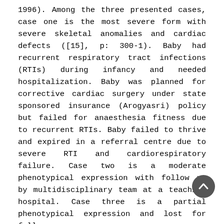1996). Among the three presented cases, case one is the most severe form with severe skeletal anomalies and cardiac defects ([15], p: 300-1). Baby had recurrent respiratory tract infections (RTIs) during infancy and needed hospitalization. Baby was planned for corrective cardiac surgery under state sponsored insurance (Arogyasri) policy but failed for anaesthesia fitness due to recurrent RTIs. Baby failed to thrive and expired in a referral centre due to severe RTI and cardiorespiratory failure. Case two is a moderate phenotypical expression with follow up by multidisciplinary team at a teaching hospital. Case three is a partial phenotypical expression and lost for follow up.

Unilateral skeletal deformities in Holt Oram syndrome are common on left side but in our case three, we found on right side ([10], p: 2636-7). Thumb defects and ASDs of OS variety were found in all three cases. All babies belonged to male sex and born to young couple with no such family history and may indicate new mutations. All pregnant women underwent